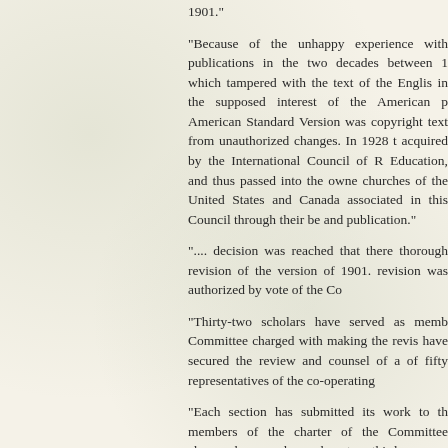1901."
"Because of the unhappy experience with publications in the two decades between 1... which tampered with the text of the English in the supposed interest of the American p... American Standard Version was copyright... text from unauthorized changes. In 1928 t... acquired by the International Council of R... Education, and thus passed into the owne... churches of the United States and Canada ... associated in this Council through their be... and publication."
".... decision was reached that there ... thorough revision of the version of 1901. revision was authorized by vote of the Co...
"Thirty-two scholars have served as memb... Committee charged with making the revis... have secured the review and counsel of a... of fifty representatives of the co-operating...
"Each section has submitted its work to th... members of the charter of the Committee ... changes be agreed upon by a two-thirds v...